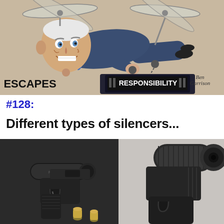[Figure (illustration): Political cartoon by Ben Garrison showing a caricatured politician flying with helicopter blades on his head, escaping a podium labeled RESPONSIBILITY. Text reads ESCAPES on the left and BEN GARRISON signature on the right.]
#128:
Different types of silencers...
[Figure (photo): Two photos of firearms with suppressors/silencers. Left photo shows a pistol with a large suppressor attached and two bullets on a dark surface. Right photo shows a close-up of a pistol barrel/suppressor from above on a light surface.]